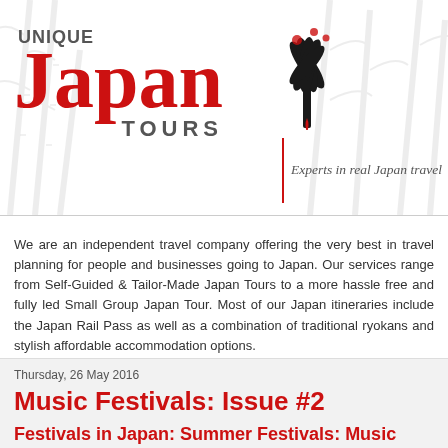[Figure (logo): Unique Japan Tours logo with red 'Japan' text, stylized black fan/torch icon, and tagline 'Experts in real Japan travel' with bamboo watermark background]
We are an independent travel company offering the very best in travel planning for people and businesses going to Japan. Our services range from Self-Guided & Tailor-Made Japan Tours to a more hassle free and fully led Small Group Japan Tour. Most of our Japan itineraries include the Japan Rail Pass as well as a combination of traditional ryokans and stylish affordable accommodation options.
Thursday, 26 May 2016
Music Festivals: Issue #2
Festivals in Japan: Summer Festivals: Music